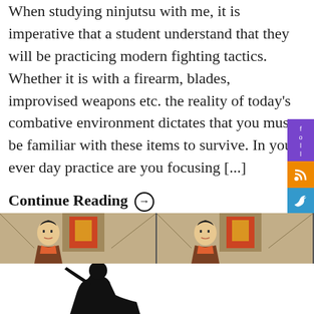When studying ninjutsu with me, it is imperative that a student understand that they will be practicing modern fighting tactics. Whether it is with a firearm, blades, improvised weapons etc. the reality of today's combative environment dictates that you must be familiar with these items to survive. In your ever day practice are you focusing [...]
Continue Reading →
[Figure (illustration): A horizontal strip showing two repeated panels of a Japanese ukiyo-e style samurai figure with orange collar, in front of a wooden structure with a red and gold sign, on a beige/tan background.]
[Figure (illustration): A black silhouette of a ninja figure carrying something over their shoulder, in a crouching/walking pose, against a white background.]